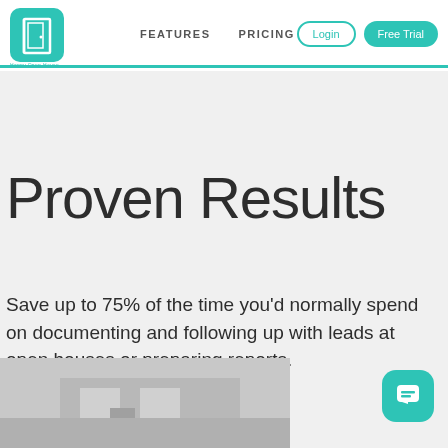[Figure (logo): Happy Open-House logo: teal rounded square with white door icon, text below reads Happy Open-House]
FEATURES   PRICING   Login   Free Trial
Proven Results
Save up to 75% of the time you'd normally spend on documenting and following up with leads at open houses or preparing reports.
[Figure (photo): Partial view of a house/building image at bottom left of the page]